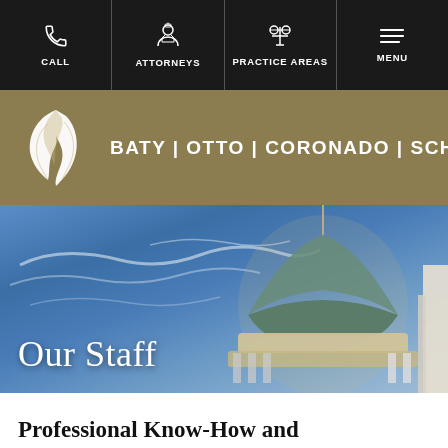CALL | ATTORNEYS | PRACTICE AREAS | MENU
[Figure (logo): Baty Otto Coronado Scheer law firm logo with white wing/feather mark on gold background and firm name in white text]
[Figure (photo): Hero image of a courthouse dome with green copper top against a blue sky with wispy clouds, with 'Our Staff' text overlay]
Professional Know-How and